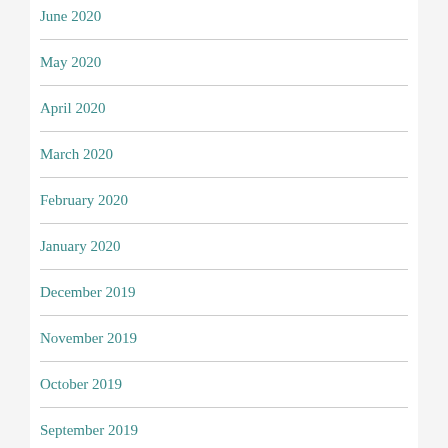June 2020
May 2020
April 2020
March 2020
February 2020
January 2020
December 2019
November 2019
October 2019
September 2019
August 2019